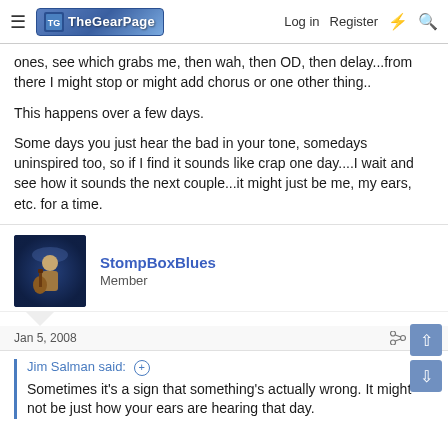The Gear Page — Log in | Register
ones, see which grabs me, then wah, then OD, then delay...from there I might stop or might add chorus or one other thing..

This happens over a few days.

Some days you just hear the bad in your tone, somedays uninspired too, so if I find it sounds like crap one day....I wait and see how it sounds the next couple...it might just be me, my ears, etc. for a time.
StompBoxBlues
Member
Jan 5, 2008  #18
Jim Salman said:
Sometimes it's a sign that something's actually wrong. It might not be just how your ears are hearing that day.